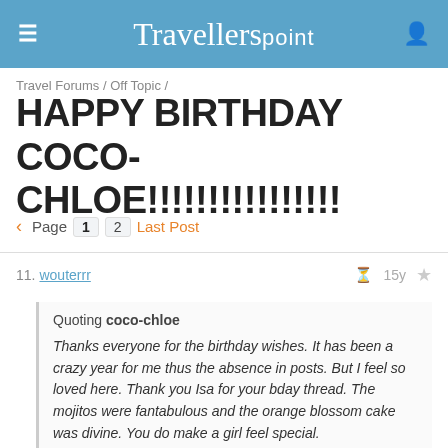Travellerspoint
Travel Forums / Off Topic /
HAPPY BIRTHDAY COCO-CHLOE!!!!!!!!!!!!!!!!
Page 1 2 Last Post
11. wouterrr  15y
Quoting coco-chloe

Thanks everyone for the birthday wishes. It has been a crazy year for me thus the absence in posts. But I feel so loved here. Thank you Isa for your bday thread. The mojitos were fantabulous and the orange blossom cake was divine. You do make a girl feel special.